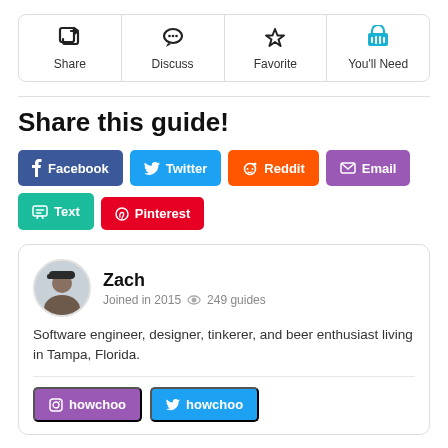[Figure (infographic): Navigation bar with four options: Share (share icon), Discuss (chat bubble icon), Favorite (star icon), You'll Need (basket icon in blue)]
Share this guide!
[Figure (infographic): Social sharing buttons: Facebook (dark blue), Twitter (light blue), Reddit (orange), Email (purple), Text (teal), Pinterest (red)]
[Figure (infographic): Author card for Zach: avatar photo, joined 2015, 249 guides, bio text, Instagram and Twitter links]
Software engineer, designer, tinkerer, and beer enthusiast living in Tampa, Florida.